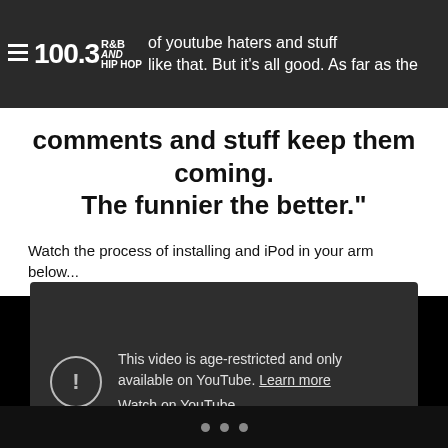100.3 R&B and Hip Hop — of youtube haters and stuff like that. But it's all good. As far as the
comments and stuff keep them coming. The funnier the better."
Watch the process of installing and iPod in your arm below...
[Figure (screenshot): Embedded YouTube video player showing age-restricted content message: 'This video is age-restricted and only available on YouTube. Learn more. Watch on YouTube.']
• • •